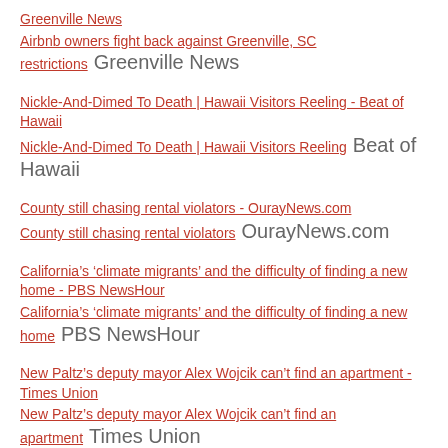Greenville News
Airbnb owners fight back against Greenville, SC restrictions   Greenville News
Nickle-And-Dimed To Death | Hawaii Visitors Reeling - Beat of Hawaii
Nickle-And-Dimed To Death | Hawaii Visitors Reeling   Beat of Hawaii
County still chasing rental violators - OurayNews.com
County still chasing rental violators   OurayNews.com
California's ‘climate migrants’ and the difficulty of finding a new home - PBS NewsHour
California's ‘climate migrants’ and the difficulty of finding a new home   PBS NewsHour
New Paltz's deputy mayor Alex Wojcik can't find an apartment - Times Union
New Paltz's deputy mayor Alex Wojcik can't find an apartment   Times Union